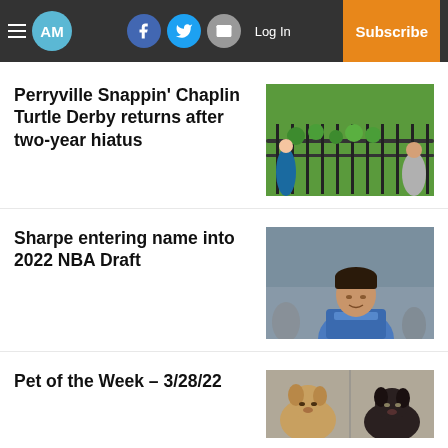AM — Header with hamburger menu, AM logo, Facebook, Twitter, Email social icons, Log In, Subscribe
Perryville Snappin' Chaplin Turtle Derby returns after two-year hiatus
[Figure (photo): Photo of people at a turtle derby event with green plants/turtles over a railing]
Sharpe entering name into 2022 NBA Draft
[Figure (photo): Photo of a young man in a blue shirt, appears to be a basketball player]
Pet of the Week – 3/28/22
[Figure (photo): Photo of two dogs, one tan and one dark/black]